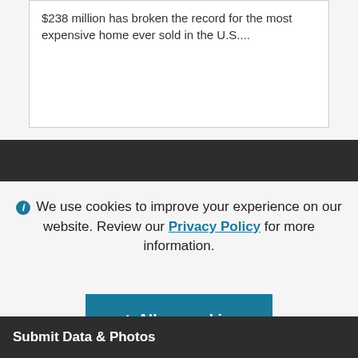$238 million has broken the record for the most expensive home ever sold in the U.S....
i We use cookies to improve your experience on our website. Review our Privacy Policy for more information.
✓ Allow cookies
Submit Data & Photos